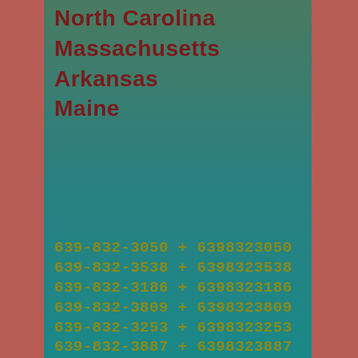North Carolina
Massachusetts
Arkansas
Maine
639-832-3050 + 6398323050
639-832-3538 + 6398323538
639-832-3186 + 6398323186
639-832-3809 + 6398323809
639-832-3253 + 6398323253
639-832-3887 + 6398323887
639-832-3164 + 6398323164
639-832-3980 + 6398323980
639-832-3929 + 6398323929
639-832-3077 + 6398323077
639-832-3964 + 6398323964
639-832-3668 + 6398323668
639-832-3456 + 6398323456
639-832-3262 + 6398323262
639-832-3063 + 6398323063
639-832-3622 + 6398323622